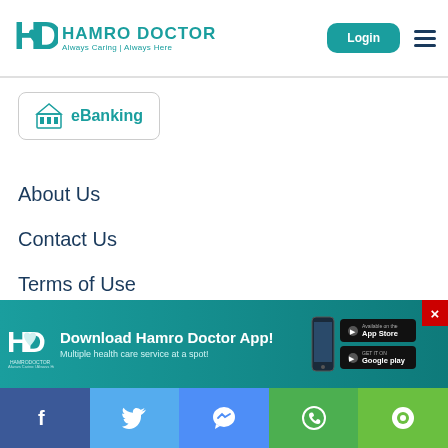[Figure (logo): Hamro Doctor logo with HD icon, teal color, tagline 'Always Caring | Always Here']
[Figure (logo): eBanking button with bank building icon in teal]
About Us
Contact Us
Terms of Use
Privacy
Advertise
[Figure (infographic): Download Hamro Doctor App banner with logo, phone image, App Store and Google Play buttons. Text: 'Download Hamro Doctor App! Multiple health care service at a spot!']
[Figure (infographic): Social media bar with Facebook, Twitter, Messenger, WhatsApp, and chat icons]